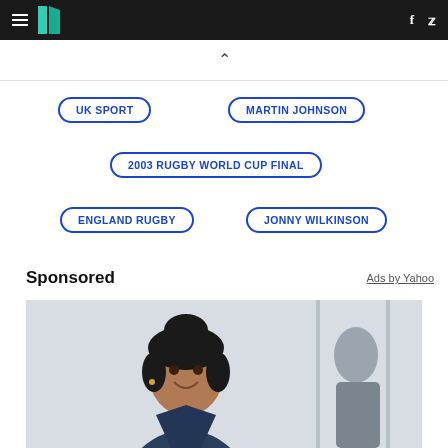HuffPost UK navigation header with hamburger menu, logo, Facebook and Twitter icons
UK SPORT
MARTIN JOHNSON
2003 RUGBY WORLD CUP FINAL
ENGLAND RUGBY
JONNY WILKINSON
Sponsored
Ads by Yahoo
[Figure (photo): Smiling woman in dark scrubs, medical professional setting, another person visible in background]